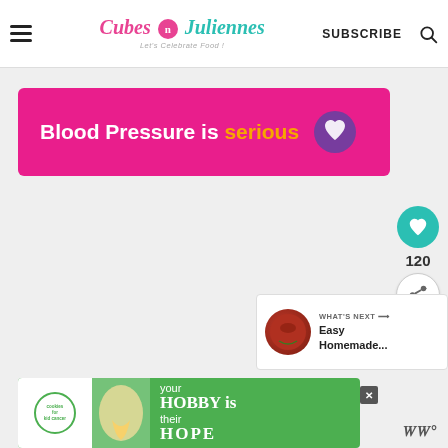Cubes N Juliennes — Let's Celebrate Food! SUBSCRIBE
[Figure (screenshot): Advertisement banner: pink background with text 'Blood Pressure is serious' with a purple heart icon]
120
[Figure (infographic): What's Next section showing 'Easy Homemade...' with a food thumbnail]
[Figure (screenshot): Cookies for Kid Cancer advertisement: 'your HOBBY is their HOPE' on green background]